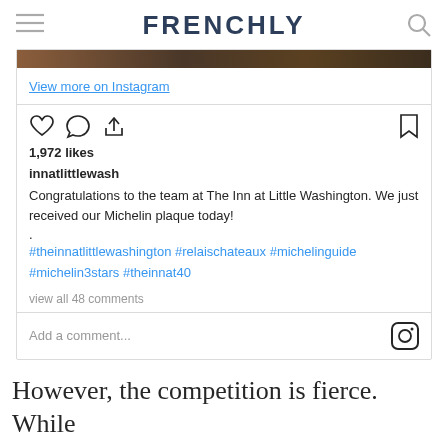FRENCHLY
[Figure (screenshot): Instagram post embed from innatlittlewash showing a Michelin plaque announcement. Contains like/comment/share icons, 1,972 likes, username innatlittlewash, caption about receiving Michelin plaque, hashtags, and comment input area.]
However, the competition is fierce. While